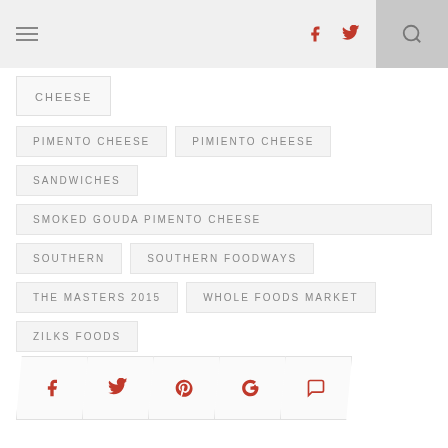Navigation bar with hamburger menu, social icons (f, twitter, instagram, linkedin), and search
CHEESE
PIMENTO CHEESE
PIMIENTO CHEESE
SANDWICHES
SMOKED GOUDA PIMENTO CHEESE
SOUTHERN
SOUTHERN FOODWAYS
THE MASTERS 2015
WHOLE FOODS MARKET
ZILKS FOODS
Social share buttons: Facebook, Twitter, Pinterest, Google+, Comment